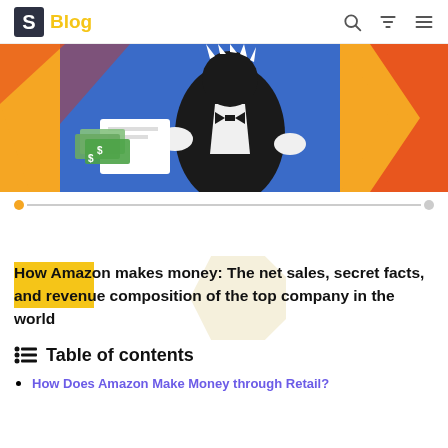S Blog
[Figure (illustration): Hero image showing a cartoon figure in a tuxedo/black suit holding documents with cash money, set against a colorful orange and blue graphic background with chevron shapes]
[Figure (infographic): Progress/slider bar with orange dot on left and gray dot on right connected by a gray line]
How Amazon makes money: The net sales, secret facts, and revenue composition of the top company in the world
Table of contents
How Does Amazon Make Money through Retail?